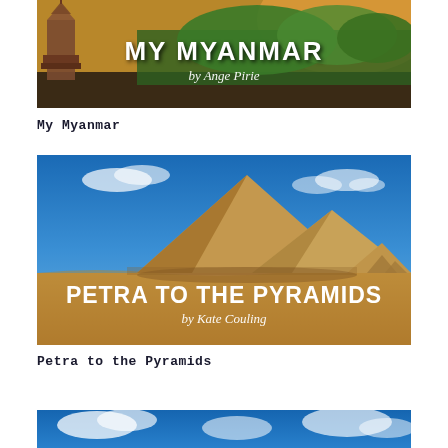[Figure (illustration): Book cover for 'My Myanmar by Ange Pirie' showing ancient pagodas and lush green trees with warm sunset light, title text overlaid in white bold and italic.]
My Myanmar
[Figure (illustration): Book cover for 'Petra to the Pyramids by Kate Couling' showing the Egyptian pyramids in a desert landscape under a blue sky, with bold white title text and italic author name overlaid.]
Petra to the Pyramids
[Figure (illustration): Partial book cover showing blue sky with clouds, bottom of page, title not visible.]